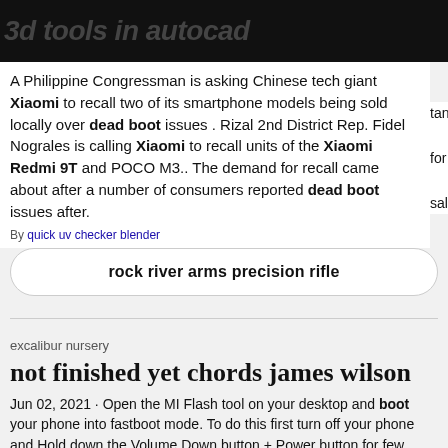3d tools in autocad
A Philippine Congressman is asking Chinese tech giant Xiaomi to recall two of its smartphone models being sold locally over dead boot issues . Rizal 2nd District Rep. Fidel Nograles is calling Xiaomi to recall units of the Xiaomi Redmi 9T and POCO M3.. The demand for recall came about after a number of consumers reported dead boot issues after.
By quick uv checker blender
rock river arms precision rifle
excalibur nursery
not finished yet chords james wilson
Jun 02, 2021 · Open the MI Flash tool on your desktop and boot your phone into fastboot mode. To do this first turn off your phone and Hold down the Volume Down button + Power button for few